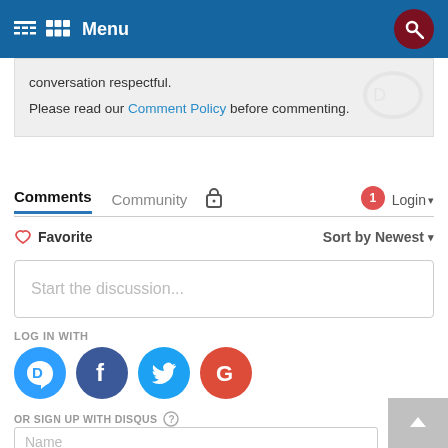Menu
conversation respectful.
Please read our Comment Policy before commenting.
Comments   Community   🔒   1   Login ▾
♡ Favorite   Sort by Newest ▾
Start the discussion...
LOG IN WITH
[Figure (logo): Social login buttons: Disqus (blue), Facebook (dark blue), Twitter (light blue), Google (red)]
OR SIGN UP WITH DISQUS ?
Name